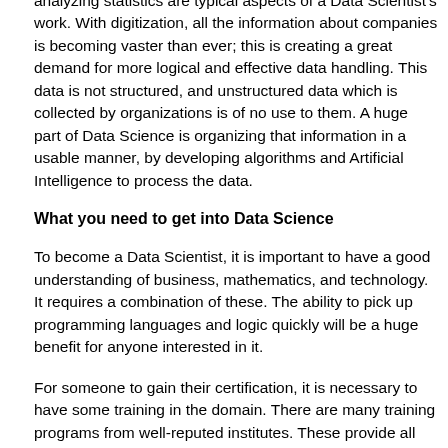analyzing statistics are typical aspects of a Data Scientist's work. With digitization, all the information about companies is becoming vaster than ever; this is creating a great demand for more logical and effective data handling. This data is not structured, and unstructured data which is collected by organizations is of no use to them. A huge part of Data Science is organizing that information in a usable manner, by developing algorithms and Artificial Intelligence to process the data.
What you need to get into Data Science
To become a Data Scientist, it is important to have a good understanding of business, mathematics, and technology. It requires a combination of these. The ability to pick up programming languages and logic quickly will be a huge benefit for anyone interested in it.
For someone to gain their certification, it is necessary to have some training in the domain. There are many training programs from well-reputed institutes. These provide all the necessary skills and experience which will start a person on the path to being a full-time Data Scientist. Coding languages will be a part of any course, and also the different software programs which are used by professionals.
The courses provide connections with potential employers. This